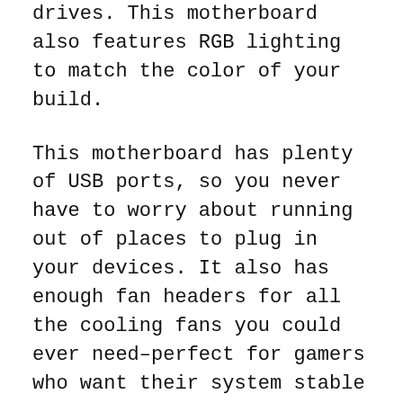drives. This motherboard also features RGB lighting to match the color of your build.
This motherboard has plenty of USB ports, so you never have to worry about running out of places to plug in your devices. It also has enough fan headers for all the cooling fans you could ever need–perfect for gamers who want their system stable and cool! The MSI MPG Z490 GAMING EDGE WIFI ATX Gaming Motherboard is perfect for any gamer looking for an upgrade.
It's packed with all the latest and greatest technology, including dual M.2 slots that can handle up to 32GB of DDR4-3200 memory, Intel